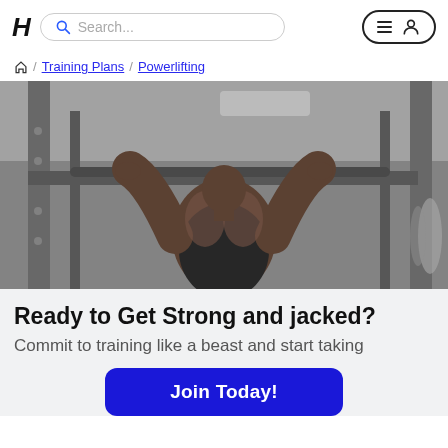H / Search... [hamburger menu] [user icon]
/ Training Plans / Powerlifting
[Figure (photo): Muscular man seen from behind doing pull-ups on a rack in a gym, wearing a black sleeveless shirt. Black and white / desaturated gym photo.]
Ready to Get Strong and jacked?
Commit to training like a beast and start taking
Join Today!